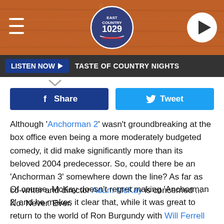[Figure (screenshot): Website header banner with wood texture background, hamburger menu icon on left, East Country 1029 logo in center, play button on right]
LISTEN NOW ▶  TASTE OF COUNTRY NIGHTS
[Figure (infographic): Facebook Share button and Twitter Tweet button row]
Although 'Anchorman 2' wasn't groundbreaking at the box office even being a more moderately budgeted comedy, it did make significantly more than its beloved 2004 predecessor. So, could there be an 'Anchorman 3' somewhere down the line? As far as co-writer and director Adam McKay is concerned ... No. Never. Ever.
Of course, McKay doesn't regret making 'Anchorman 2' and he makes it clear that, while it was great to return to the world of Ron Burgundy with Will Ferrell and the rest of the